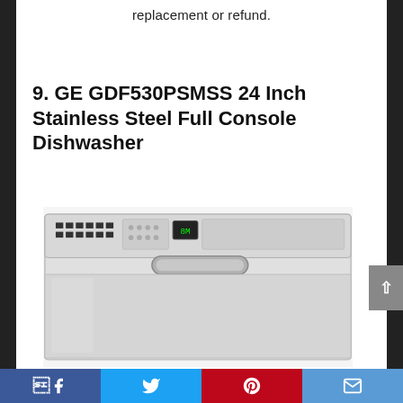replacement or refund.
9. GE GDF530PSMSS 24 Inch Stainless Steel Full Console Dishwasher
[Figure (photo): GE GDF530PSMSS 24 Inch Stainless Steel Full Console Dishwasher product photo showing front panel with controls and handle]
Facebook | Twitter | Pinterest | Email